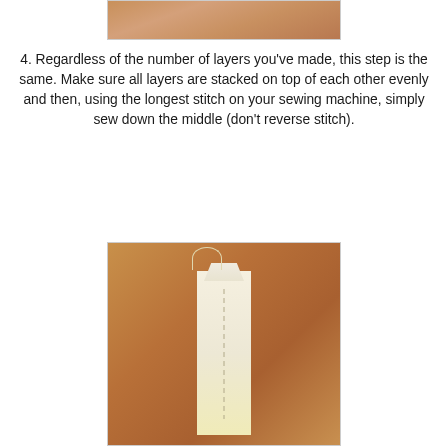[Figure (photo): Top portion of a photo showing brown/tan fabric layers stacked, partial view at top of page]
4. Regardless of the number of layers you've made, this step is the same. Make sure all layers are stacked on top of each other evenly and then, using the longest stitch on your sewing machine, simply sew down the middle (don't reverse stitch).
[Figure (photo): Photo of white/cream fabric strip sewn down the middle placed on top of brown cardboard/fabric background, showing a basting stitch down the center with loose thread ends at the top]